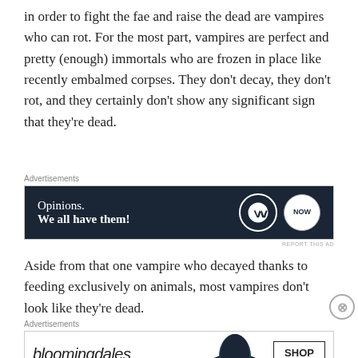in order to fight the fae and raise the dead are vampires who can rot. For the most part, vampires are perfect and pretty (enough) immortals who are frozen in place like recently embalmed corpses. They don't decay, they don't rot, and they certainly don't show any significant sign that they're dead.
[Figure (screenshot): Advertisement banner: dark navy background with text 'Opinions. We all have them!' and WordPress logo circle and 'NOW' circle on right side.]
Aside from that one vampire who decayed thanks to feeding exclusively on animals, most vampires don't look like they're dead.
[Figure (screenshot): Advertisement banner: Bloomingdale's ad with logo, 'View Today's Top Deals!' text, woman in hat image, and 'SHOP NOW >' button.]